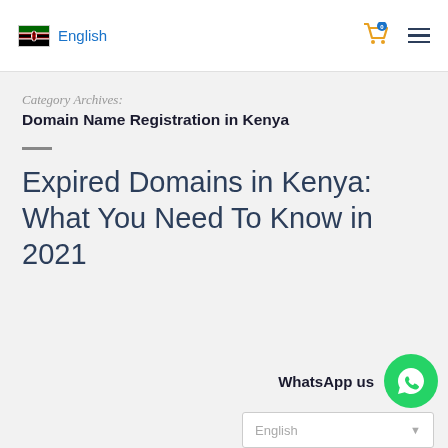English
Category Archives:
Domain Name Registration in Kenya
Expired Domains in Kenya: What You Need To Know in 2021
WhatsApp us
English